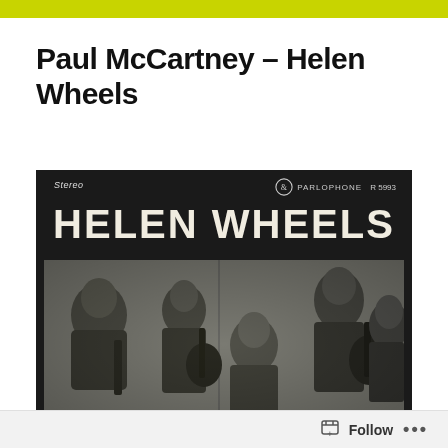Paul McCartney – Helen Wheels
[Figure (photo): Black and white photo of the Helen Wheels single record cover by Paul McCartney on Parlophone label (R 5993), showing band members playing guitars with 'HELEN WHEELS' in large bold letters at the top.]
Follow